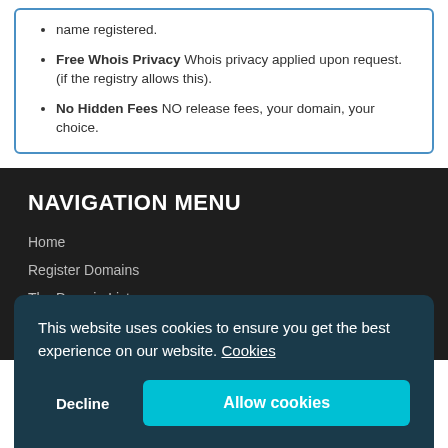name registered.
Free Whois Privacy Whois privacy applied upon request. (if the registry allows this).
No Hidden Fees NO release fees, your domain, your choice.
NAVIGATION MENU
Home
Register Domains
The Domain List
Internationalised Domains
This website uses cookies to ensure you get the best experience on our website. Cookies
Decline
Allow cookies